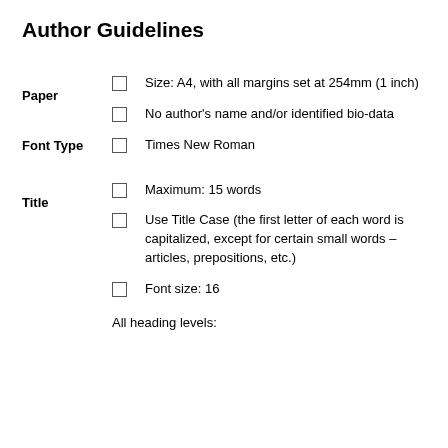Author Guidelines
Size: A4, with all margins set at 254mm (1 inch)
No author's name and/or identified bio-data
Times New Roman
Maximum: 15 words
Use Title Case (the first letter of each word is capitalized, except for certain small words – articles, prepositions, etc.)
Font size: 16
All heading levels: